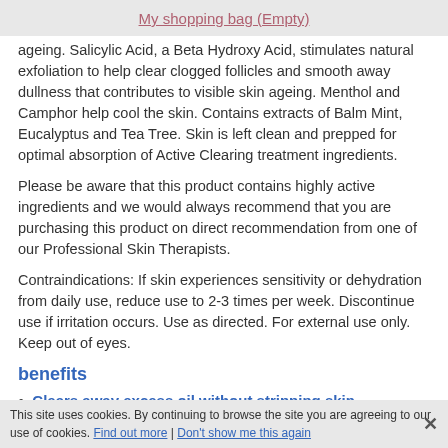My shopping bag (Empty)
ageing. Salicylic Acid, a Beta Hydroxy Acid, stimulates natural exfoliation to help clear clogged follicles and smooth away dullness that contributes to visible skin ageing. Menthol and Camphor help cool the skin. Contains extracts of Balm Mint, Eucalyptus and Tea Tree. Skin is left clean and prepped for optimal absorption of Active Clearing treatment ingredients.
Please be aware that this product contains highly active ingredients and we would always recommend that you are purchasing this product on direct recommendation from one of our Professional Skin Therapists.
Contraindications: If skin experiences sensitivity or dehydration from daily use, reduce use to 2-3 times per week. Discontinue use if irritation occurs. Use as directed. For external use only. Keep out of eyes.
benefits
Clears away excess oil without stripping skin.
Helps control future breakouts
Soothes...
This site uses cookies. By continuing to browse the site you are agreeing to our use of cookies. Find out more | Don't show me this again